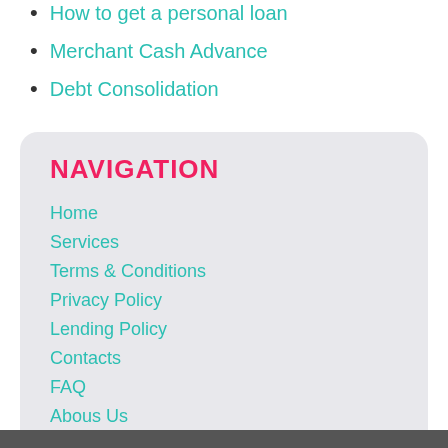How to get a personal loan
Merchant Cash Advance
Debt Consolidation
NAVIGATION
Home
Services
Terms & Conditions
Privacy Policy
Lending Policy
Contacts
FAQ
Abous Us